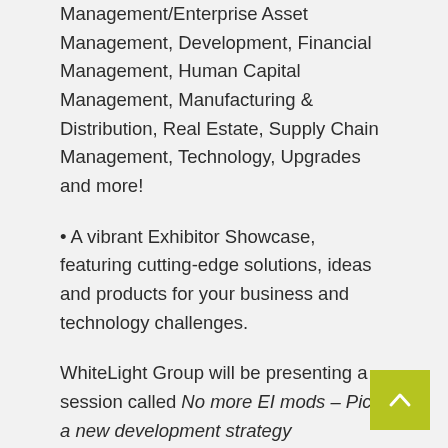Management/Enterprise Asset Management, Development, Financial Management, Human Capital Management, Manufacturing & Distribution, Real Estate, Supply Chain Management, Technology, Upgrades and more!
• A vibrant Exhibitor Showcase, featuring cutting-edge solutions, ideas and products for your business and technology challenges.
WhiteLight Group will be presenting a session called No more EI mods – Pick a new development strategy